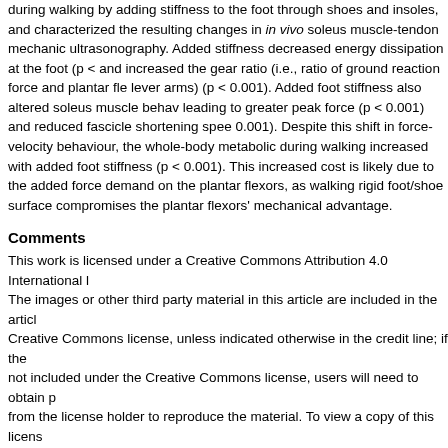during walking by adding stiffness to the foot through shoes and insoles, and characterized the resulting changes in in vivo soleus muscle-tendon mechanics using ultrasonography. Added stiffness decreased energy dissipation at the foot (p < and increased the gear ratio (i.e., ratio of ground reaction force and plantar flexor lever arms) (p < 0.001). Added foot stiffness also altered soleus muscle behaviour leading to greater peak force (p < 0.001) and reduced fascicle shortening speed (p < 0.001). Despite this shift in force-velocity behaviour, the whole-body metabolic cost during walking increased with added foot stiffness (p < 0.001). This increased cost is likely due to the added force demand on the plantar flexors, as walking on a rigid foot/shoe surface compromises the plantar flexors' mechanical advantage.
Comments
This work is licensed under a Creative Commons Attribution 4.0 International License. The images or other third party material in this article are included in the article's Creative Commons license, unless indicated otherwise in the credit line; if the material is not included under the Creative Commons license, users will need to obtain permission from the license holder to reproduce the material. To view a copy of this license, visit http://creativecommons.org/licenses/by/4.0/
DOI: https://doi.org/10.1038/srep29870
Journal Title
Scientific Reports
Volume
6
Issue
29870